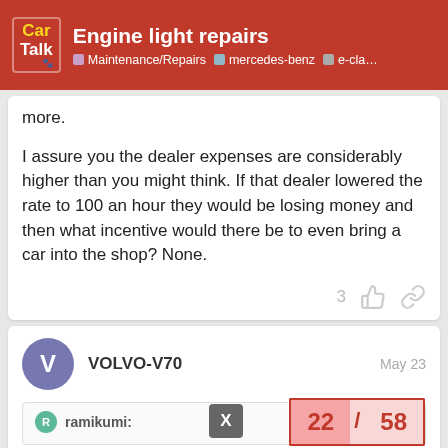Engine light repairs — Maintenance/Repairs · mercedes-benz · e-cla...
more.
I assure you the dealer expenses are considerably higher than you might think. If that dealer lowered the rate to 100 an hour they would be losing money and then what incentive would there be to even bring a car into the shop? None.
VOLVO-V70  May 23
ramikumi:
22 / 58